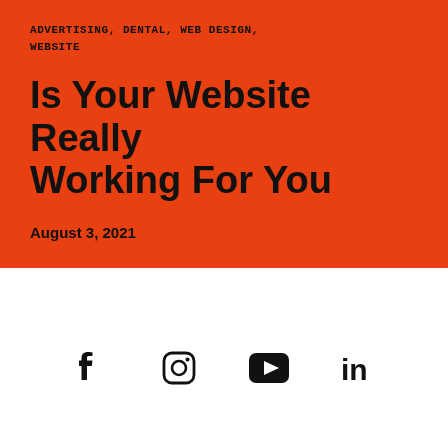ADVERTISING, DENTAL, WEB DESIGN, WEBSITE
Is Your Website Really Working For You
August 3, 2021
[Figure (infographic): Social media icons: Facebook, Instagram, YouTube, LinkedIn]